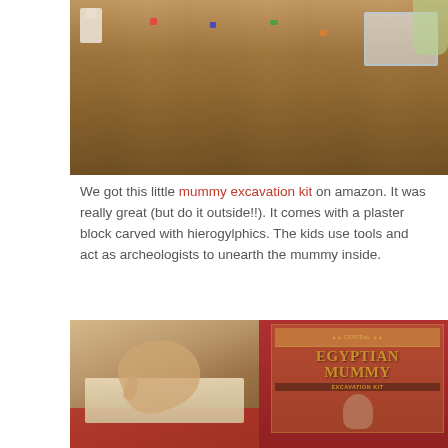[Figure (photo): Top-down photo of children playing on a wooden floor with toys and a plastic storage container]
We got this little mummy excavation kit on amazon. It was really great (but do it outside!!). It comes with a plaster block carved with hierogylphics. The kids use tools and act as archeologists to unearth the mummy inside.
[Figure (photo): Left: close-up of child's hand scratching a plaster block on a red cloth outdoors. Right: Egyptian Mummy Excavation Kit box packaging showing the product label with ancient Egyptian imagery.]